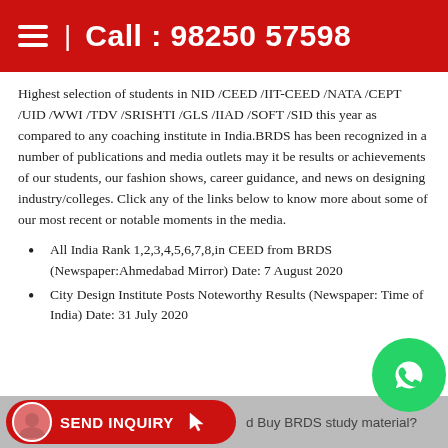| Call : 98250 57598
Highest selection of students in NID /CEED /IIT-CEED /NATA /CEPT /UID /WWI /TDV /SRISHTI /GLS /IIAD /SOFT /SID this year as compared to any coaching institute in India.BRDS has been recognized in a number of publications and media outlets may it be results or achievements of our students, our fashion shows, career guidance, and news on designing industry/colleges. Click any of the links below to know more about some of our most recent or notable moments in the media.
All India Rank 1,2,3,4,5,6,7,8,in CEED from BRDS (Newspaper:Ahmedabad Mirror) Date: 7 August 2020
City Design Institute Posts Noteworthy Results (Newspaper: Time of India) Date: 31 July 2020
SEND INQUIRY | Buy BRDS study material?